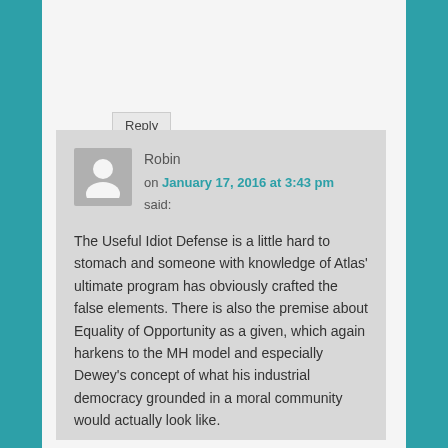Reply ↓
Robin
on January 17, 2016 at 3:43 pm
said:
The Useful Idiot Defense is a little hard to stomach and someone with knowledge of Atlas' ultimate program has obviously crafted the false elements. There is also the premise about Equality of Opportunity as a given, which again harkens to the MH model and especially Dewey's concept of what his industrial democracy grounded in a moral community would actually look like.
The false elements all pointing in a common direction is hardly accidental,